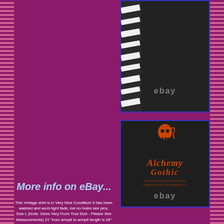[Figure (photo): Close-up photo of a black shirt interior/back, with zebra-print strap visible, ebay watermark]
[Figure (photo): Close-up of Alchemy Gothic orange logo/brand label on black fabric, ebay watermark]
More info on eBay...
This Vintage shirt is in Very Nice Condition! It has been washed and worn light fade, but no holes see pics. Size L (Note: Sizes Very From True Size - Please See Measurements) 21" from armpit to armpit length is 28" next to the collar to the bottom of the shirt. The item "Alchemy Gothic 1994 Vintage